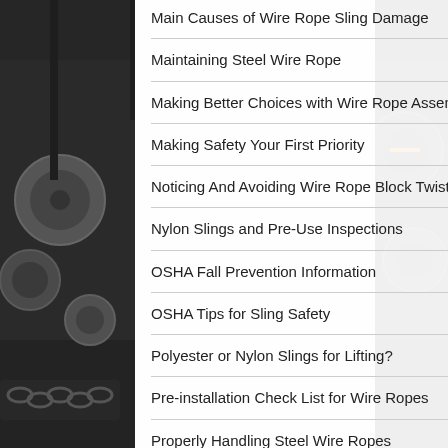[Figure (photo): Industrial warehouse/factory background showing large spools of wire rope and chains on the floor, dark industrial setting]
Main Causes of Wire Rope Sling Damage
Maintaining Steel Wire Rope
Making Better Choices with Wire Rope Assemblies
Making Safety Your First Priority
Noticing And Avoiding Wire Rope Block Twisting
Nylon Slings and Pre-Use Inspections
OSHA Fall Prevention Information
OSHA Tips for Sling Safety
Polyester or Nylon Slings for Lifting?
Pre-installation Check List for Wire Ropes
Properly Handling Steel Wire Ropes
Protecting Wire Rope